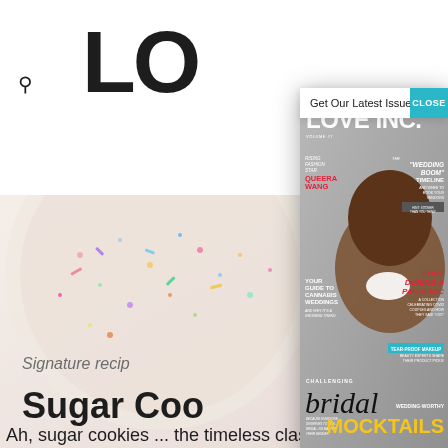LO (partial logo visible)
[Figure (screenshot): Website screenshot showing a magazine website (LOVE INC.) with a modal popup. The modal shows the Love Inc. magazine cover featuring a smiling Black man with an afro, and text overlays including: LOVE INC. (title), VOLUME #7, RISING FASHION STAR QUEERA WANG, THE "WEDDING BOOM" TIMELINE AND WHEN TO BOOK YOUR VENDORS (HINT: SOONER THAN YOU THINK!), YOUR GUIDE TO CANNABIS WEDDINGS AND WHY IT'S A GROWING TREND, LOVE DURING A PANDEMIC A COLLECTION CELEBRATING COVID COUPLES AND HOW THEY SAID "I DO", TEAR-PROOF MAKEUP BEAUTY EXPERTS SHARE THEIR PRODUCT PICKS!, CHALLENGING bridal BECAUSE EVERYONE DESERVES TO FEEL BRIDAL NO MATTER THEIR GENDER, WEDDING-WORTHY MOCKTAILS. The modal header says 'Get Our Latest Issue' with a teal CLOSE button. Behind the modal, a partial background shows rainbow sprinkles in a bowl, text 'Signature recipe' and 'Sugar Coo' (truncated).]
Signature recipe
Sugar Coo
Ah, sugar cookies ... the timeless classic!